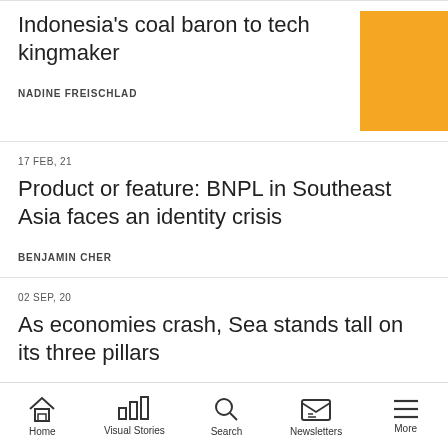Indonesia's coal baron to tech kingmaker
NADINE FREISCHLAD
17 FEB, 21
Product or feature: BNPL in Southeast Asia faces an identity crisis
BENJAMIN CHER
02 SEP, 20
As economies crash, Sea stands tall on its three pillars
JON RUSSELL
Home  Visual Stories  Search  Newsletters  More